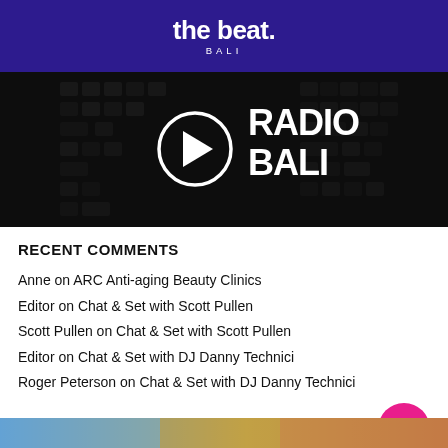the beat. BALI
[Figure (screenshot): Radio Bali banner with play button circle icon on dark typewriter keyboard background. White circle play button on left, white bold text 'RADIO BALI' on right.]
RECENT COMMENTS
Anne on ARC Anti-aging Beauty Clinics
Editor on Chat & Set with Scott Pullen
Scott Pullen on Chat & Set with Scott Pullen
Editor on Chat & Set with DJ Danny Technici
Roger Peterson on Chat & Set with DJ Danny Technici
RECENT STORIES
[Figure (photo): Partial bottom strip of an image showing outdoor scene with blue sky and warm tones]